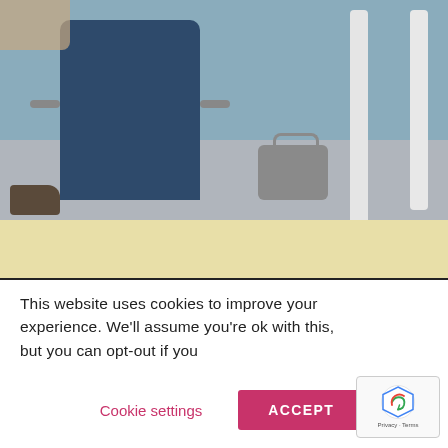[Figure (photo): Office scene showing a dark blue chair, carpet floor with geometric pattern, a light-colored desk surface, a bag on the floor, and white table legs. Below is a monitor/laptop screen showing a web browser with a pink/magenta themed website interface, including navigation bars, content buttons, and a video thumbnail of a person.]
This website uses cookies to improve your experience. We'll assume you're ok with this, but you can opt-out if you
Cookie settings
ACCEPT